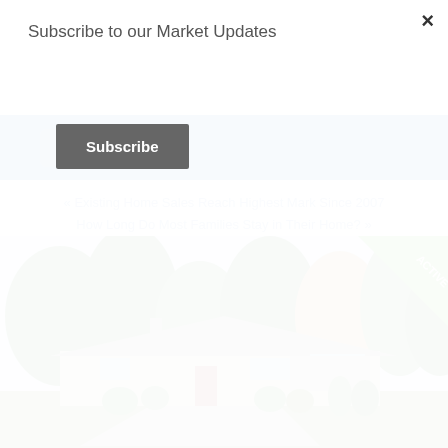Subscribe to our Market Updates
Subscribe
×
[Figure (screenshot): Blue social media bar with Facebook and LinkedIn icons]
« Existing Home Sales Reach Highest Mark Since 2007
How Long Do Most Families Stay in Their Home? »
[Figure (photo): Real estate listing photo of a single-story ranch-style home with green trees, circular driveway, and an ACTIVE badge in the top-right corner]